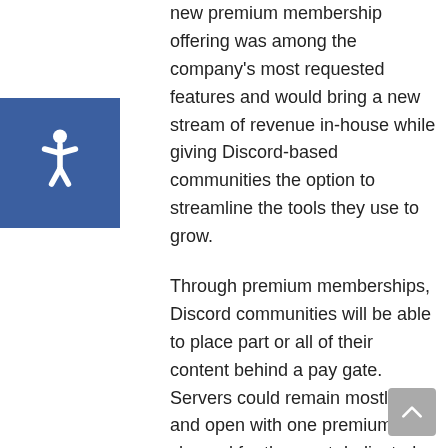[Figure (illustration): Blue square accessibility icon with white wheelchair symbol]
new premium membership offering was among the company’s most requested features and would bring a new stream of revenue in-house while giving Discord-based communities the option to streamline the tools they use to grow.
Through premium memberships, Discord communities will be able to place part or all of their content behind a pay gate. Servers could remain mostly free and open with one premium paid channel for the most dedicated members or an entire community could go premium, requiring payment for access.
The company is calling premium memberships a “very early pilot” for now and the feature will roll out first to a small group of communities that will test the paid features and offer feedback. Communities in the small test group for premium memberships include a gaming boot